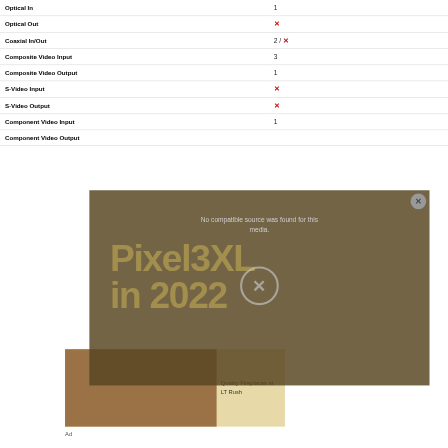| Feature | Value |
| --- | --- |
| Optical In | 1 |
| Optical Out | ✗ |
| Coaxial In/Out | 2 / ✗ |
| Composite Video Input | 3 |
| Composite Video Output | 1 |
| S-Video Input | ✗ |
| S-Video Output | ✗ |
| Component Video Input | 1 |
| Component Video Output |  |
[Figure (screenshot): Video player overlay showing 'No compatible source was found for this media.' message with a Pixel 3XL in 2022 watermark text and a close button]
[Figure (photo): Advertisement image showing a fireplace with stone surround. Text reads 'Quality Fireplaces at LT Rush']
Ad